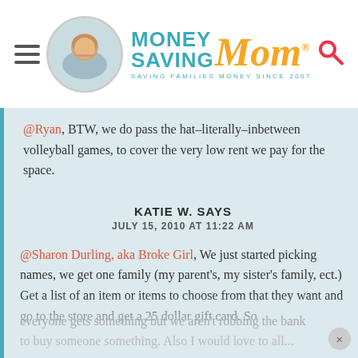[Figure (logo): Money Saving Mom website logo with circular photo, hamburger menu icon, and search icon]
@Ryan, BTW, we do pass the hat–literally–inbetween volleyball games, to cover the very low rent we pay for the space.
KATIE W. SAYS
JULY 15, 2010 AT 11:22 AM
@Sharon Durling, aka Broke Girl, We just started picking names, we get one family (my parent's, my sister's family, ect.) Get a list of an item or items to choose from that they want and go to the store and get a 25 dollar gift card. So everyone gets something but we aren't robbing the bank to buy someone something. Also I would love to all...